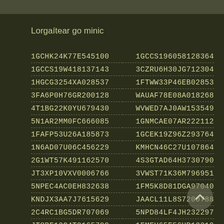Lorgaítear go minic
1GCHK24K77E545100
1GCCS19W418137143
1HGCG3254XA028537
3FA6P0H76GR200128
4T1BG22K0YU679430
5N1AR2MM0FC666085
1FAFP53U26A185873
1N6AD07U06C456229
2G1WT57K491162570
JT3XP10VXV0006766
5NPEC4AC0EH832638
KNDJX3AA7J7615629
2C4RC1BG5DR707069
JT8BF12G4T0165799
1GCCS196058128364
3CZRU6H30JG712304
1FTWW33P46EB02853
WAUAF78E08A018268
WVWED7AJ0AW153549
1GNMCAE07AR222112
1GCEK19Z96Z293764
KMHCN46C27U107864
4S3GTAD64H3730790
3VWST71K36M796951
1FM5K8D81DGA97040
JAACL11L8S7200788
5NPD84LF4JH232297
1FMEU65E56UB12310